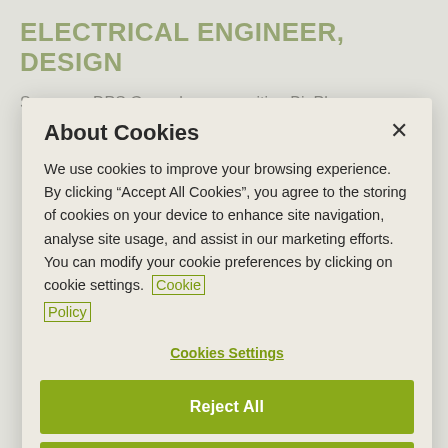ELECTRICAL ENGINEER, DESIGN
Summary DPS Group has an exciting BioPharma
About Cookies
We use cookies to improve your browsing experience. By clicking “Accept All Cookies”, you agree to the storing of cookies on your device to enhance site navigation, analyse site usage, and assist in our marketing efforts. You can modify your cookie preferences by clicking on cookie settings. Cookie Policy
Cookies Settings
Reject All
Accept All Cookies